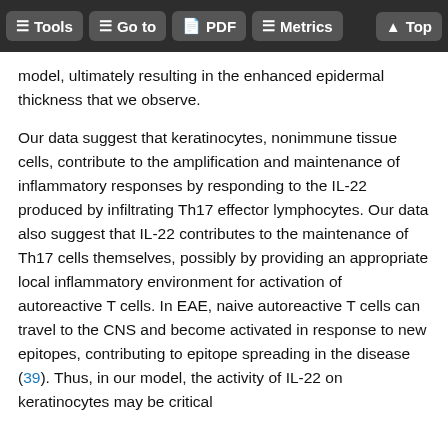Tools | Go to | PDF | Metrics | Top
model, ultimately resulting in the enhanced epidermal thickness that we observe.
Our data suggest that keratinocytes, nonimmune tissue cells, contribute to the amplification and maintenance of inflammatory responses by responding to the IL-22 produced by infiltrating Th17 effector lymphocytes. Our data also suggest that IL-22 contributes to the maintenance of Th17 cells themselves, possibly by providing an appropriate local inflammatory environment for activation of autoreactive T cells. In EAE, naive autoreactive T cells can travel to the CNS and become activated in response to new epitopes, contributing to epitope spreading in the disease (39). Thus, in our model, the activity of IL-22 on keratinocytes may be critical